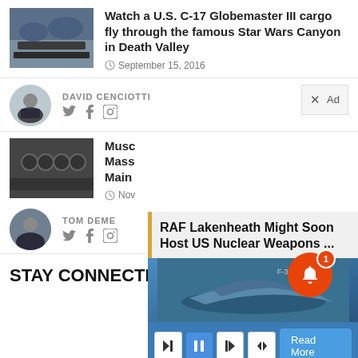[Figure (photo): Military aircraft thumbnail - C-17 Globemaster]
Watch a U.S. C-17 Globemaster III cargo fly through the famous Star Wars Canyon in Death Valley
September 15, 2016
[Figure (photo): Author headshot - David Cenciotti]
DAVID CENCIOTTI
[Figure (photo): Military jet engines thumbnail]
Musc Mass Main
Nov
[Figure (photo): Author headshot - Tom Deme]
TOM DEME
[Figure (screenshot): Overlay ad: RAF Lakenheath Might Soon Host US Nuclear Weapons ... with fighter jet image and media controls]
STAY CONNECTED